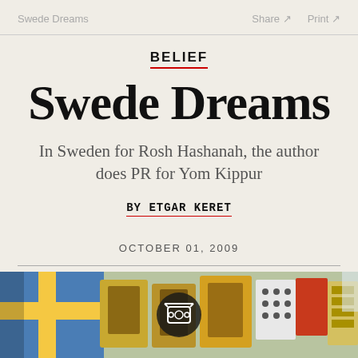Swede Dreams    Share ↗    Print ↗
BELIEF
Swede Dreams
In Sweden for Rosh Hashanah, the author does PR for Yom Kippur
BY ETGAR KERET
OCTOBER 01, 2009
[Figure (photo): Photo showing Swedish flags, decorative items and colorful objects on a table, with a circular play button overlay in the center]